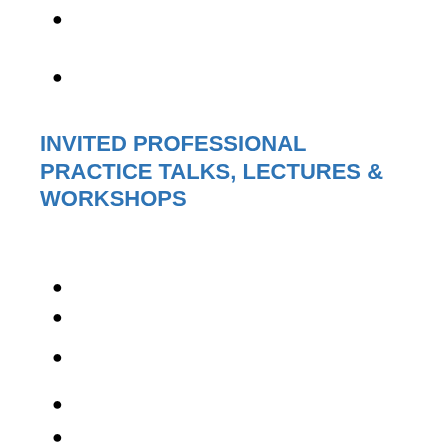INVITED PROFESSIONAL PRACTICE TALKS, LECTURES & WORKSHOPS